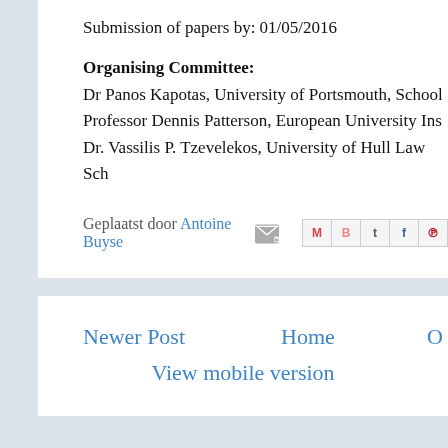Submission of papers by: 01/05/2016
Organising Committee:
Dr Panos Kapotas, University of Portsmouth, School
Professor Dennis Patterson, European University Ins
Dr. Vassilis P. Tzevelekos, University of Hull Law Sch
Geplaatst door Antoine Buyse
Newer Post
Home
View mobile version